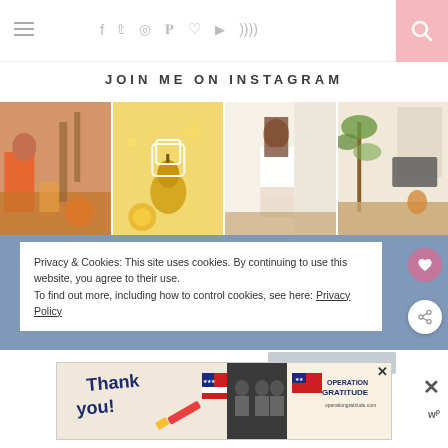Navigation bar with hamburger menu, social icons (f, twitter, instagram, pinterest, heart, youtube, rss), and pink search button
JOIN ME ON INSTAGRAM
[Figure (photo): Four Instagram photo grid: (1) child in orange dress with autumn decor, (2) yellow aesthetic flatlay with pear and citrus, (3) woman in white sitting on floor, (4) living room with greenery and fireplace]
Privacy & Cookies: This site uses cookies. By continuing to use this website, you agree to their use.
To find out more, including how to control cookies, see here: Privacy Policy
[Figure (photo): Advertisement banner: 'Thank you!' with Operation Gratitude military imagery]